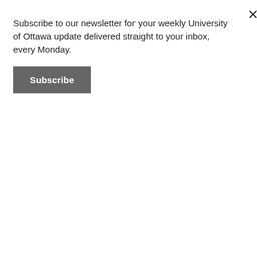Subscribe to our newsletter for your weekly University of Ottawa update delivered straight to your inbox, every Monday.
Subscribe
There are only two days left of Ottawa's summer music festival
ow.ly/47a850JXvoU
[Figure (photo): A performer on stage holding a microphone up to their face with one hand and a guitar in the other, lit by green stage lighting.]
thefulcrum.ca